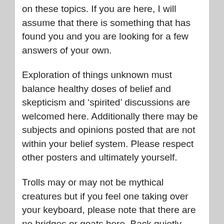on these topics.  If you are here, I will assume that there is something that has found you and you are looking for a few answers of your own.
Exploration of things unknown must balance healthy doses of belief and skepticism and ‘spirited’ discussions are welcomed here.  Additionally there may be subjects and opinions posted that are not within your belief system.  Please respect other posters and ultimately yourself.
Trolls may or may not be mythical creatures but if you feel one taking over your keyboard, please note that there are no bridges or goats here.  Back quietly away from your computer and take a break.  And if you notice a troll has taken over someone’s keyboard, don’t feed it.   Hopefully the brute will leave and go elsewhere to be fed.